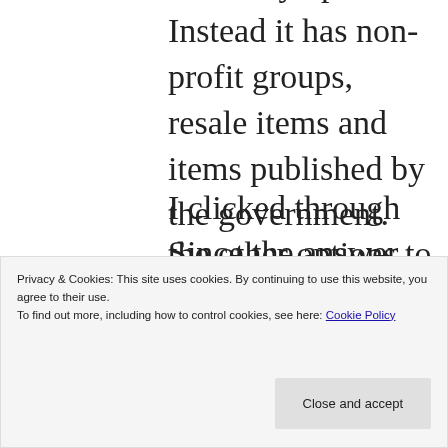the treaty option. Instead it has non-profit groups, resale items and items published by the government.
I clicked through the other options to set up an account, but I did not see where they requested foreign tax exempts. This is something I'll explore further when I print a book through them.
Since the answer isn't obvious,
Privacy & Cookies: This site uses cookies. By continuing to use this website, you agree to their use.
To find out more, including how to control cookies, see here: Cookie Policy
Close and accept